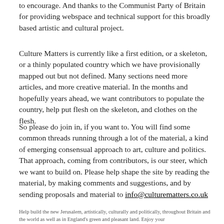to encourage. And thanks to the Communist Party of Britain for providing webspace and technical support for this broadly based artistic and cultural project.
Culture Matters is currently like a first edition, or a skeleton, or a thinly populated country which we have provisionally mapped out but not defined. Many sections need more articles, and more creative material. In the months and hopefully years ahead, we want contributors to populate the country, help put flesh on the skeleton, and clothes on the flesh.
So please do join in, if you want to. You will find some common threads running through a lot of the material, a kind of emerging consensual approach to art, culture and politics. That approach, coming from contributors, is our steer, which we want to build on. Please help shape the site by reading the material, by making comments and suggestions, and by sending proposals and material to info@culturematters.co.uk
Help build the new Jerusalem, artistically, culturally and politically, throughout Britain and the world as well as in England's green and pleasant land. Enjoy your